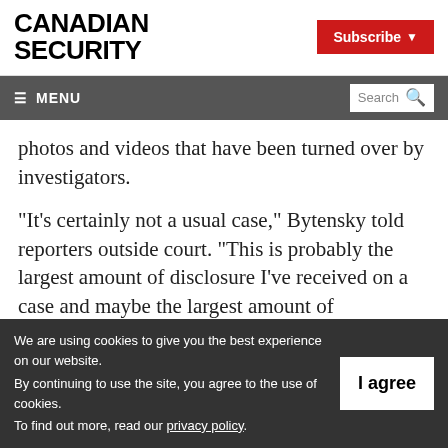[Figure (logo): Canadian Security magazine logo in bold black uppercase text]
[Figure (other): Red Subscribe button with dropdown arrow]
☰ MENU   Search 🔍
photos and videos that have been turned over by investigators.
“It’s certainly not a usual case,” Bytensky told reporters outside court. “This is probably the largest amount of disclosure I’ve received on a case and maybe the largest amount of
We are using cookies to give you the best experience on our website.
By continuing to use the site, you agree to the use of cookies.
To find out more, read our privacy policy.